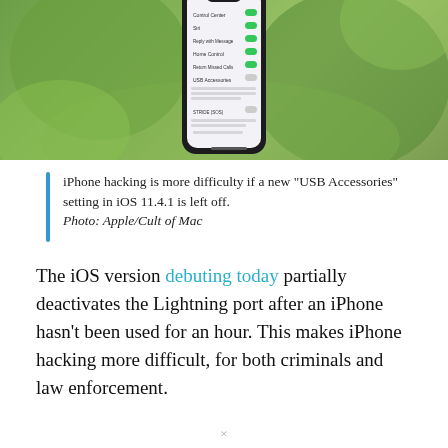[Figure (screenshot): iPhone X displayed against a blurred green outdoor background, showing iOS settings screen with USB Accessories toggle turned off among other settings]
iPhone hacking is more difficulty if a new "USB Accessories" setting in iOS 11.4.1 is left off. Photo: Apple/Cult of Mac
The iOS version debuting today partially deactivates the Lightning port after an iPhone hasn't been used for an hour. This makes iPhone hacking more difficult, for both criminals and law enforcement.